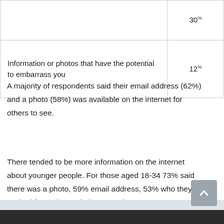|  |  |
| --- | --- |
|  | 30% |
| Information or photos that have the potential to embarrass you | 12% |
A majority of respondents said their email address (62%) and a photo (58%) was available on the internet for others to see.
There tended to be more information on the internet about younger people. For those aged 18-34 73% said there was a photo, 59% email address, 53% who they worked for and 52% their occupation.